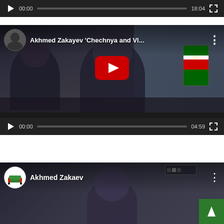[Figure (screenshot): Video player 1 showing controls with 00:00 / 18:04 timestamp, play button, progress bar, and fullscreen button on dark background]
[Figure (screenshot): YouTube-style embedded video player titled 'Akhmed Zakayev Chechnya and Vl...' showing two men at a conference table with a Chechen flag, red YouTube play button overlay, channel avatar, and controls showing 00:00 / 04:59]
[Figure (screenshot): Partially visible video player at bottom showing 'Akhmed Zakaev' title with channel avatar (green/red icon), and a person's face visible in thumbnail]